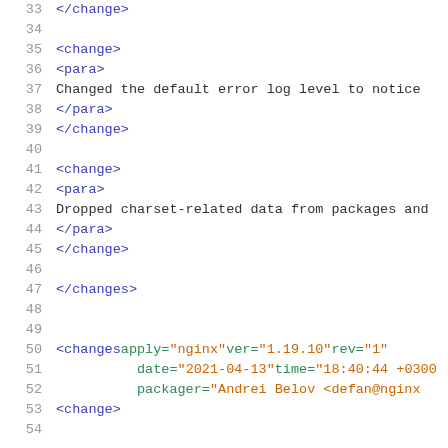Code listing showing XML changelog snippet, lines 33-54